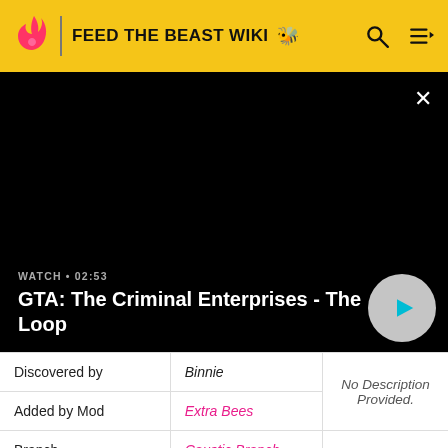FEED THE BEAST WIKI
[Figure (screenshot): Video thumbnail showing black screen with title GTA: The Criminal Enterprises - The Loop, watch time 02:53, and play button]
| Discovered by | Binnie | No Description Provided. |
| Added by Mod | Extra Bees |  |
| Branch | Caustic Branch |  |
| isNocturnal | No |  |